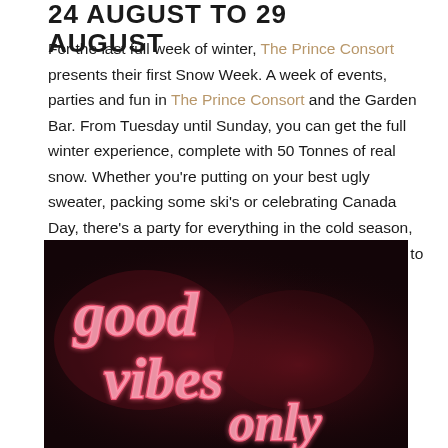24 AUGUST TO 29 AUGUST
For the last full week of winter, The Prince Consort presents their first Snow Week. A week of events, parties and fun in The Prince Consort and the Garden Bar. From Tuesday until Sunday, you can get the full winter experience, complete with 50 Tonnes of real snow. Whether you're putting on your best ugly sweater, packing some ski's or celebrating Canada Day, there's a party for everything in the cold season, packed into one week. There's snow way you'll want to miss out on this.
[Figure (photo): Neon sign reading 'good vibes only' in pink/red neon lettering against a dark background with red ambient glow]